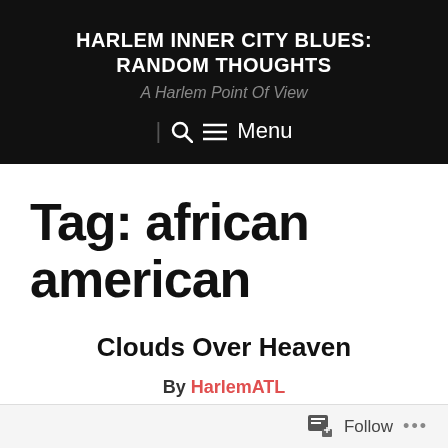HARLEM INNER CITY BLUES: RANDOM THOUGHTS
A Harlem Point Of View
| 🔍 ☰ Menu
Tag: african american
Clouds Over Heaven
By HarlemATL
Follow ...